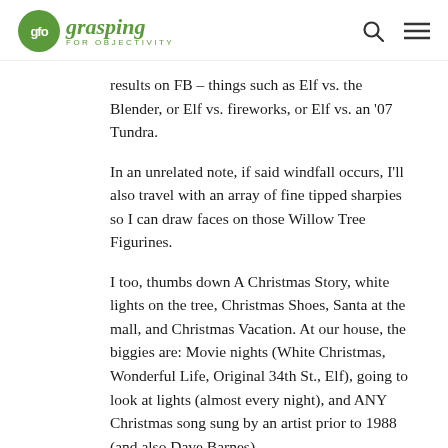gfo grasping FOR OBJECTIVITY
results on FB – things such as Elf vs. the Blender, or Elf vs. fireworks, or Elf vs. an '07 Tundra.
In an unrelated note, if said windfall occurs, I'll also travel with an array of fine tipped sharpies so I can draw faces on those Willow Tree Figurines.
I too, thumbs down A Christmas Story, white lights on the tree, Christmas Shoes, Santa at the mall, and Christmas Vacation. At our house, the biggies are: Movie nights (White Christmas, Wonderful Life, Original 34th St., Elf), going to look at lights (almost every night), and ANY Christmas song sung by an artist prior to 1988 (and also Dave Barnes).